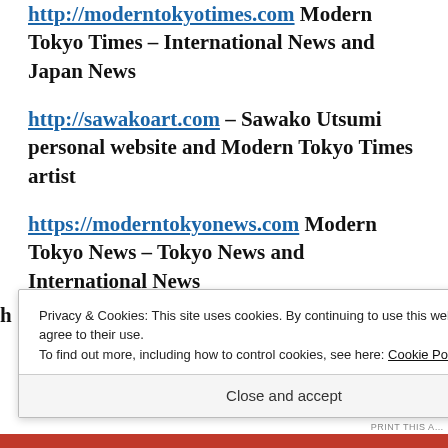http://moderntokyotimes.com Modern Tokyo Times – International News and Japan News
http://sawakoart.com – Sawako Utsumi personal website and Modern Tokyo Times artist
https://moderntokyonews.com Modern Tokyo News – Tokyo News and International News
Privacy & Cookies: This site uses cookies. By continuing to use this website, you agree to their use.
To find out more, including how to control cookies, see here: Cookie Policy
Close and accept